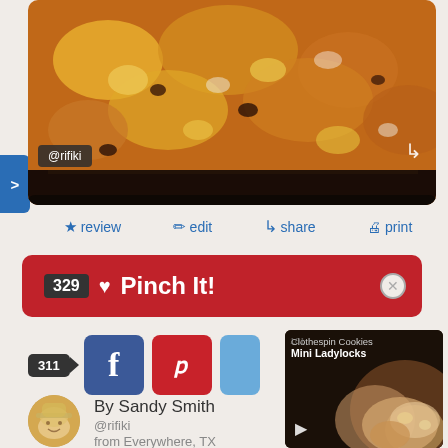[Figure (photo): Close-up food photo of a cheesy baked dish in a dark pan, with @rifiki attribution tag]
@rifiki
★ review
✎ edit
↪ share
print
329  ♥ Pinch It!
311
[Figure (screenshot): Video thumbnail showing Clothespin Cookies Mini Ladylocks with hands and dough]
Clothespin Cookies Mini Ladylocks
By Sandy Smith
@rifiki
from Everywhere, TX